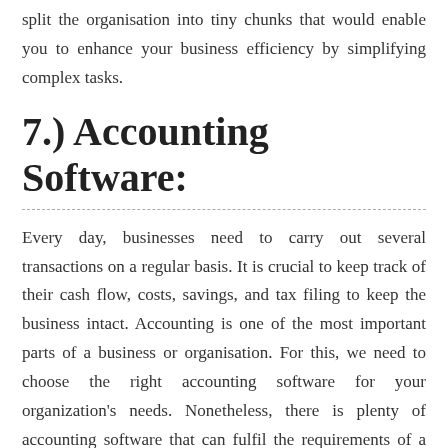split the organisation into tiny chunks that would enable you to enhance your business efficiency by simplifying complex tasks.
7.) Accounting Software:
Every day, businesses need to carry out several transactions on a regular basis. It is crucial to keep track of their cash flow, costs, savings, and tax filing to keep the business intact. Accounting is one of the most important parts of a business or organisation. For this, we need to choose the right accounting software for your organization's needs. Nonetheless, there is plenty of accounting software that can fulfil the requirements of a business.